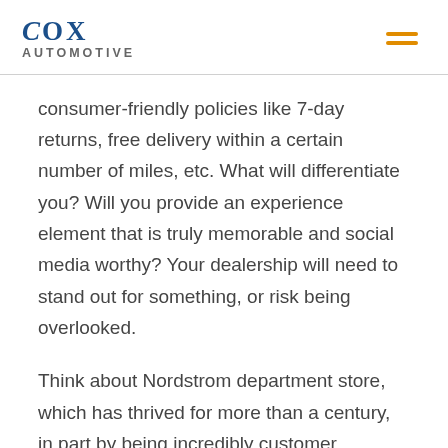Cox Automotive
consumer-friendly policies like 7-day returns, free delivery within a certain number of miles, etc. What will differentiate you? Will you provide an experience element that is truly memorable and social media worthy? Your dealership will need to stand out for something, or risk being overlooked.
Think about Nordstrom department store, which has thrived for more than a century, in part by being incredibly customer focused. There’s a (probably apocryphal) story that